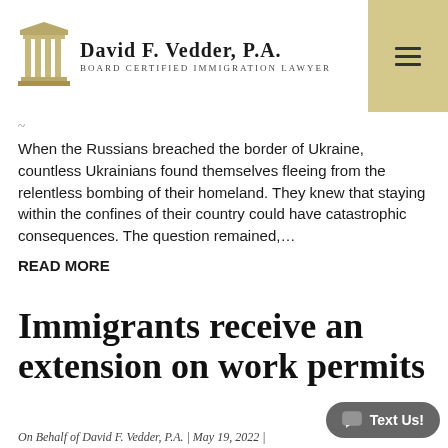David F. Vedder, P.A. — Board Certified Immigration Lawyer
When the Russians breached the border of Ukraine, countless Ukrainians found themselves fleeing from the relentless bombing of their homeland. They knew that staying within the confines of their country could have catastrophic consequences. The question remained,...
READ MORE
Immigrants receive an extension on work permits
On Behalf of David F. Vedder, P.A. | May 19, 2022 |